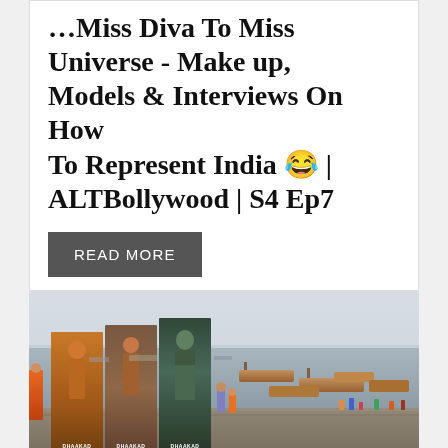…Miss Diva to Miss Universe - Make up, Models & Interviews On How To Represent India 😂 | ALTBollywood | S4 Ep7
READ MORE
[Figure (photo): Outdoor scene at a riverbank (likely the Ganges in Varanasi) showing wooden boats moored near a ghat, with people and Dhaakad movie posters visible in the foreground.]